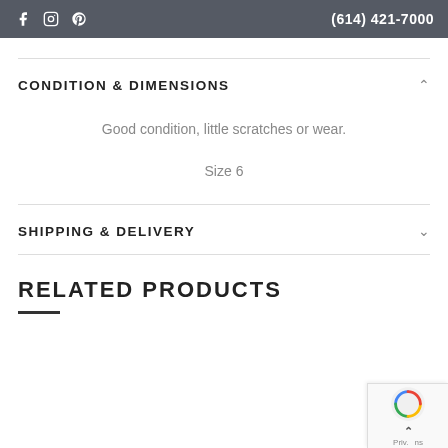f  Instagram  Pinterest  (614) 421-7000
CONDITION & DIMENSIONS
Good condition, little scratches or wear.
Size 6
SHIPPING & DELIVERY
RELATED PRODUCTS